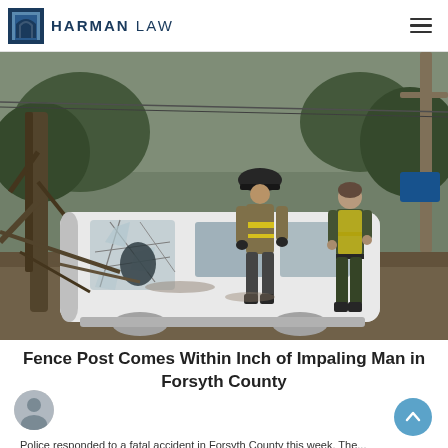HARMAN LAW
[Figure (photo): A white van on its side after a rollover accident. A firefighter in full gear and yellow stripes examines the shattered windshield area while a uniformed officer in a yellow safety vest stands nearby. Fallen trees and debris surround the vehicle.]
Fence Post Comes Within Inch of Impaling Man in Forsyth County
Police responded to a serious accident in Forsyth County this week. The...